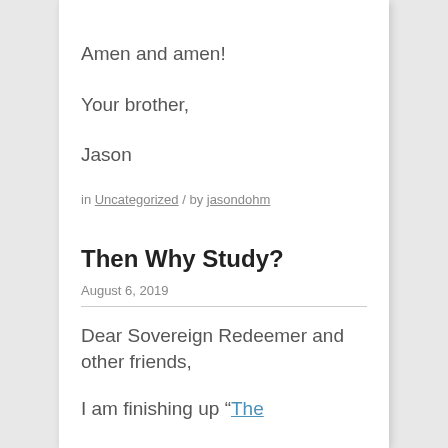Amen and amen!
Your brother,
Jason
in Uncategorized / by jasondohm
Then Why Study?
August 6, 2019
Dear Sovereign Redeemer and other friends,
I am finishing up “The